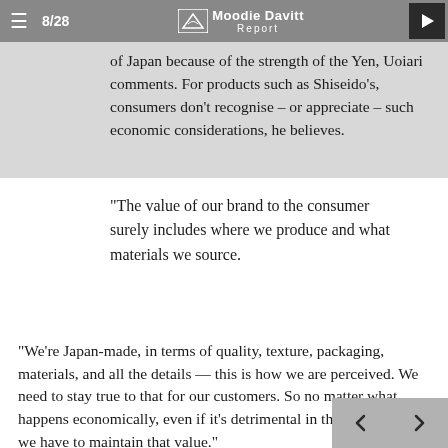8/28  Moodie Davitt Report
of Japan because of the strength of the Yen, Uoiari comments. For products such as Shiseido's, consumers don't recognise – or appreciate – such economic considerations, he believes.
“The value of our brand to the consumer surely includes where we produce and what materials we source.
"We're Japan-made, in terms of quality, texture, packaging, materials, and all the details — this is how we are perceived. We need to stay true to that for our customers. So no matter what happens economically, even if it's detrimental in the short-term, we have to maintain that value."